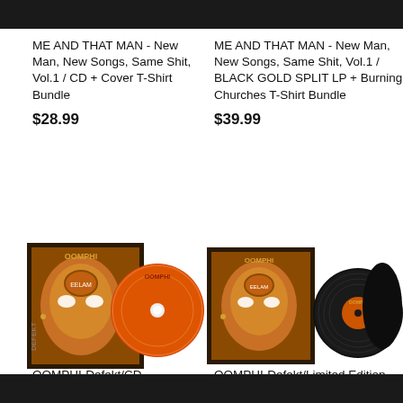ME AND THAT MAN - New Man, New Songs, Same Shit, Vol.1 / CD + Cover T-Shirt Bundle
$28.99
ME AND THAT MAN - New Man, New Songs, Same Shit, Vol.1 / BLACK GOLD SPLIT LP + Burning Churches T-Shirt Bundle
$39.99
[Figure (photo): OOMPHI-Defekt CD album cover with disc showing]
OOMPHI-Defekt/CD
[Figure (photo): OOMPHI-Defekt Limited Edition BLACK Vinyl Gatefold album with vinyl record]
OOMPHI-Defekt/Limited Edition BLACK Vinyl Gatefold